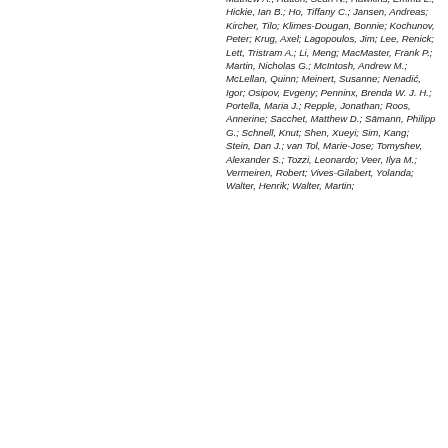Mathew A.; Hatton, Sean N.; Hawkins, Emma L.; Hickie, Ian B.; Ho, Tiffany C.; Jansen, Andreas; Kircher, Tilo; Klimes-Dougan, Bonnie; Kochunov, Peter; Krug, Axel; Lagopoulos, Jim; Lee, Renick; Lett, Tristram A.; Li, Meng; MacMaster, Frank P.; Martin, Nicholas G.; McIntosh, Andrew M.; McLellan, Quinn; Meinert, Susanne; Nenadić, Igor; Osipov, Evgeny; Penninx, Brenda W. J. H.; Portella, Maria J.; Repple, Jonathan; Roos, Annerine; Sacchet, Matthew D.; Sämann, Philipp G.; Schnell, Knut; Shen, Xueyi; Sim, Kang; Stein, Dan J.; van Tol, Marie-Jose; Tomyshev, Alexander S.; Tozzi, Leonardo; Veer, Ilya M.; Vermeiren, Robert; Vives-Gilabert, Yolanda; Walter, Henrik; Walter, Martin;